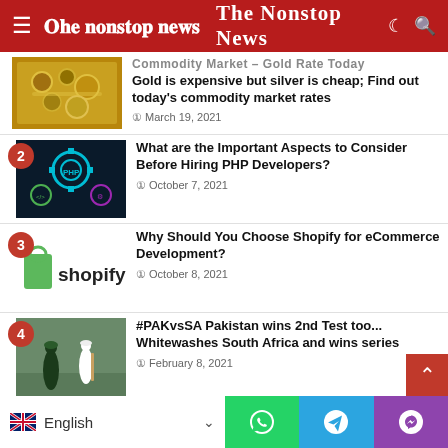The Nonstop News
Commodity Market – Gold Rate Today Gold is expensive but silver is cheap; Find out today's commodity market rates — March 19, 2021
2 — What are the Important Aspects to Consider Before Hiring PHP Developers? — October 7, 2021
3 — Why Should You Choose Shopify for eCommerce Development? — October 8, 2021
4 — #PAKvsSA Pakistan wins 2nd Test too... Whitewashes South Africa and wins series — February 8, 2021